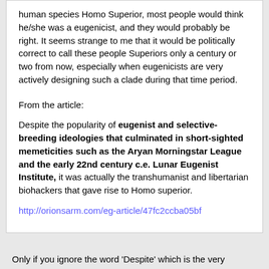human species Homo Superior, most people would think he/she was a eugenicist, and they would probably be right. It seems strange to me that it would be politically correct to call these people Superiors only a century or two from now, especially when eugenicists are very actively designing such a clade during that time period.
From the article:
Despite the popularity of eugenist and selective-breeding ideologies that culminated in short-sighted memeticities such as the Aryan Morningstar League and the early 22nd century c.e. Lunar Eugenist Institute, it was actually the transhumanist and libertarian biohackers that gave rise to Homo superior.
http://orionsarm.com/eg-article/47fc2ccba05bf
Only if you ignore the word 'Despite' which is the very